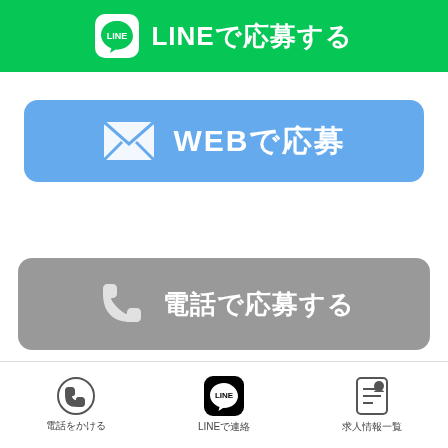[Figure (other): Green LINE button with LINE logo and text 'LINEで応募する']
[Figure (other): Blue rounded button with envelope icon and text 'WEBで応募']
[Figure (other): Gray rounded button with phone icon and text '電話で応募する']
[Figure (other): Bottom navigation bar with three items: 電話をかける (phone icon), LINEで連絡 (LINE icon), 求人情報一覧 (document icon)]